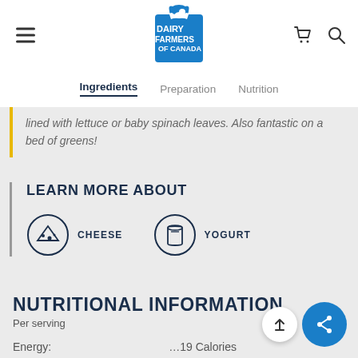[Figure (logo): Dairy Farmers of Canada logo - blue cow icon with text]
Ingredients  Preparation  Nutrition
lined with lettuce or baby spinach leaves. Also fantastic on a bed of greens!
LEARN MORE ABOUT
[Figure (infographic): Two circular icons: CHEESE (cheese wedge icon) and YOGURT (yogurt cup icon)]
NUTRITIONAL INFORMATION
Per serving
Energy:
...19 Calories